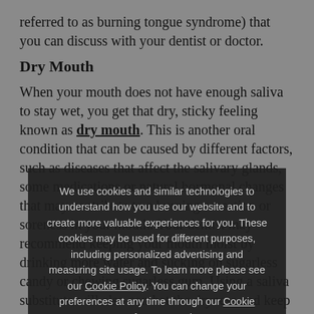referred to as burning tongue syndrome) that you can discuss with your dentist or doctor.
Dry Mouth
When your mouth does not have enough saliva to stay wet, you get that dry, sticky feeling known as dry mouth. This is another oral condition that can be caused by different factors, such as diseases that affect the salivary glands, some medications or natural hormonal changes that may contribute to a burning sensation or soreness in your mouth. Your dentist may recommend keeping your mouth moist by drinking more water and sucking on sugarless candy or chewing sugarless gum. Using a saliva substitute will also combat the dryness and keep your mouth healthy.
We use cookies and similar technologies to understand how you use our website and to create more valuable experiences for you. These cookies may be used for different purposes, including personalized advertising and measuring site usage. To learn more please see our Cookie Policy. You can change your preferences at any time through our Cookie preferences tool.
Accept